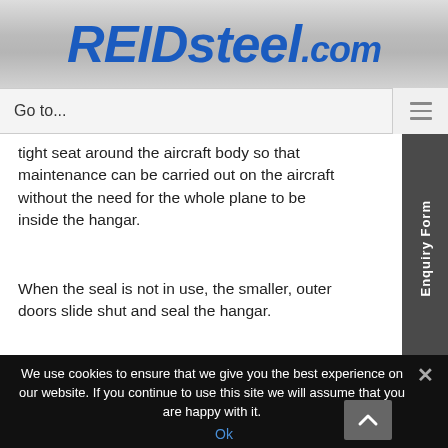REIDsteel.com
Go to...
tight seat around the aircraft body so that maintenance can be carried out on the aircraft without the need for the whole plane to be inside the hangar.
When the seal is not in use, the smaller, outer doors slide shut and seal the hangar.
[Figure (photo): Partial view of aircraft hangar doors — blue sliding door panels]
We use cookies to ensure that we give you the best experience on our website. If you continue to use this site we will assume that you are happy with it.
Ok